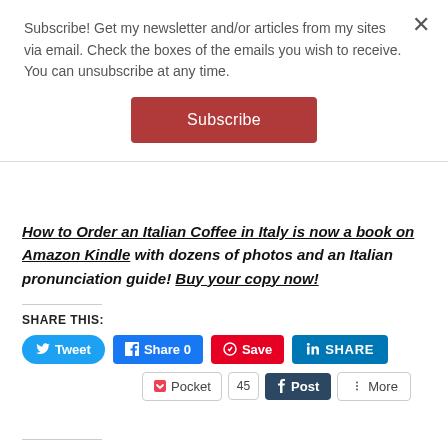Subscribe! Get my newsletter and/or articles from my sites via email. Check the boxes of the emails you wish to receive. You can unsubscribe at any time.
Subscribe
How to Order an Italian Coffee in Italy is now a book on Amazon Kindle with dozens of photos and an Italian pronunciation guide! Buy your copy now!
SHARE THIS:
Tweet   Share 0   Save   SHARE   Pocket  45  Post  More